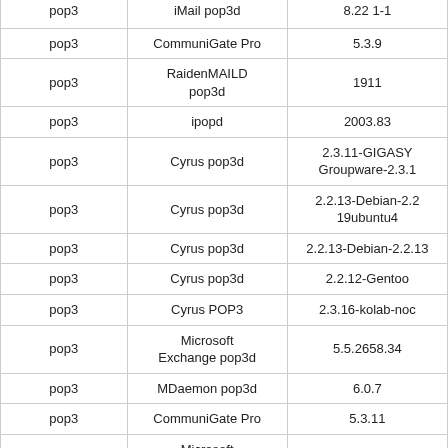| Protocol | Server | Version |
| --- | --- | --- |
| pop3 | iMail pop3d | 8.22 1-1 |
| pop3 | CommuniGate Pro | 5.3.9 |
| pop3 | RaidenMAILD pop3d | 1911 |
| pop3 | ipopd | 2003.83 |
| pop3 | Cyrus pop3d | 2.3.11-GIGASY Groupware-2.3.1 |
| pop3 | Cyrus pop3d | 2.2.13-Debian-2.2 19ubuntu4 |
| pop3 | Cyrus pop3d | 2.2.13-Debian-2.2.13 |
| pop3 | Cyrus pop3d | 2.2.12-Gentoo |
| pop3 | Cyrus POP3 | 2.3.16-kolab-noc |
| pop3 | Microsoft Exchange pop3d | 5.5.2658.34 |
| pop3 | MDaemon pop3d | 6.0.7 |
| pop3 | CommuniGate Pro | 5.3.11 |
| pop3 | Microsoft Exchange 2003 pop3d | 6.5.6944.0 |
| pop3 | MailSite pop3d | 9.2.0.0 |
| pop3 |  | 2.3.7-Invoca-RPM- |